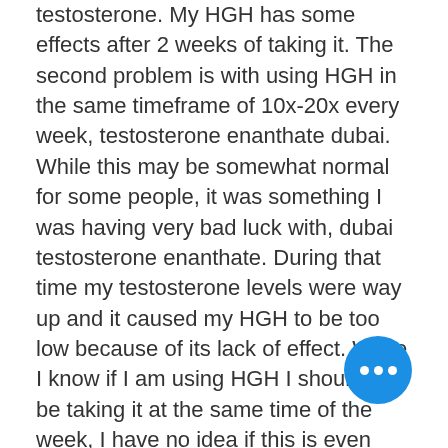testosterone. My HGH has some effects after 2 weeks of taking it. The second problem is with using HGH in the same timeframe of 10x-20x every week, testosterone enanthate dubai. While this may be somewhat normal for some people, it was something I was having very bad luck with, dubai testosterone enanthate. During that time my testosterone levels were way up and it caused my HGH to be too low because of its lack of effect. While I know if I am using HGH I shouldn't be taking it at the same time of the week, I have no idea if this is even possible, are anabolic steroids legal in canada.
Here's the thing... I have no idea what I am doing that is causing this: testosterone use or supplement use, buy steroids ae. I know there are certain supplements you should cut out because of their side effects that may be present with the testosterone you take. Those supplements are the ones that cause